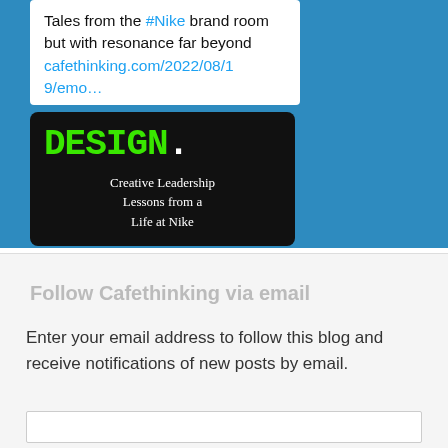Tales from the #Nike brand room but with resonance far beyond cafethinking.com/2022/08/19/emo…
[Figure (illustration): Book cover image on black background: 'DESIGN.' in large green monospace font with white period, subtitle 'Creative Leadership Lessons from a Life at Nike' in white serif text]
Follow Cafethinking via email
Enter your email address to follow this blog and receive notifications of new posts by email.